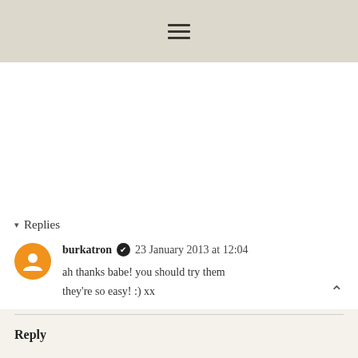≡ (hamburger menu icon)
▾ Replies
burkatron ✔ 23 January 2013 at 12:04
ah thanks babe! you should try them they're so easy! :) xx
Reply